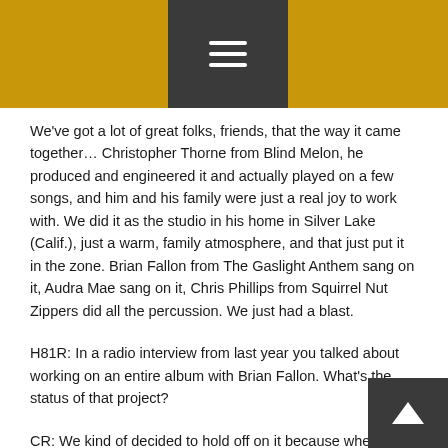Navigation menu header bar with hamburger menu icon
We've got a lot of great folks, friends, that the way it came together… Christopher Thorne from Blind Melon, he produced and engineered it and actually played on a few songs, and him and his family were just a real joy to work with. We did it as the studio in his home in Silver Lake (Calif.), just a warm, family atmosphere, and that just put it in the zone. Brian Fallon from The Gaslight Anthem sang on it, Audra Mae sang on it, Chris Phillips from Squirrel Nut Zippers did all the percussion. We just had a blast.
H81R: In a radio interview from last year you talked about working on an entire album with Brian Fallon. What's the status of that project?
CR: We kind of decided to hold off on it because when we were on the tour together last year overseas we had planned to write the record on that tour, and it just got tough. We were super busy trying to visit all the local record stores...